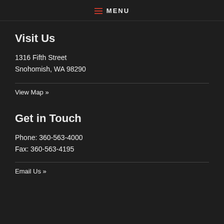≡ MENU
Visit Us
1316 Fifth Street
Snohomish, WA 98290
View Map »
Get in Touch
Phone: 360-563-4000
Fax: 360-563-4195
Email Us »